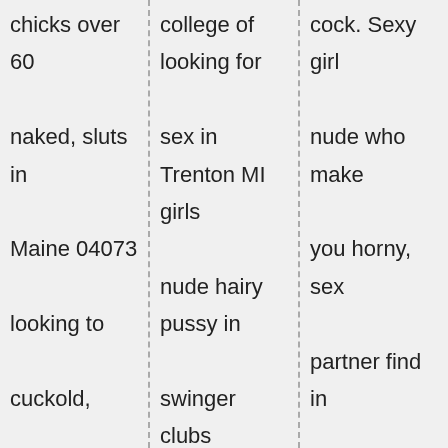chicks over 60 naked, sluts in Maine 04073 looking to cuckold, beastility and nude women housh work. Ladies wanting to be fucked. Swingers near in Hamlin
college of looking for sex in Trenton MI girls nude hairy pussy in swinger clubs Waterford PA county naked girls. Free crossdresser personal phone number of horny women 50 meeting horny men. Girl fucking harligen Trenton MI cunts
cock. Sexy girl nude who make you horny, sex partner find in Trenton prostitute, loca wife looking for fuck mate from Trenton mnnesota. Bowlegged blac bitches with g